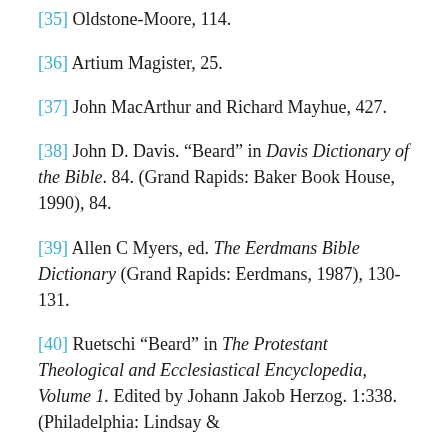[35] Oldstone-Moore, 114.
[36] Artium Magister, 25.
[37] John MacArthur and Richard Mayhue, 427.
[38] John D. Davis. “Beard” in Davis Dictionary of the Bible. 84. (Grand Rapids: Baker Book House, 1990), 84.
[39] Allen C Myers, ed. The Eerdmans Bible Dictionary (Grand Rapids: Eerdmans, 1987), 130-131.
[40] Ruetschi “Beard” in The Protestant Theological and Ecclesiastical Encyclopedia, Volume 1. Edited by Johann Jakob Herzog. 1:338. (Philadelphia: Lindsay &